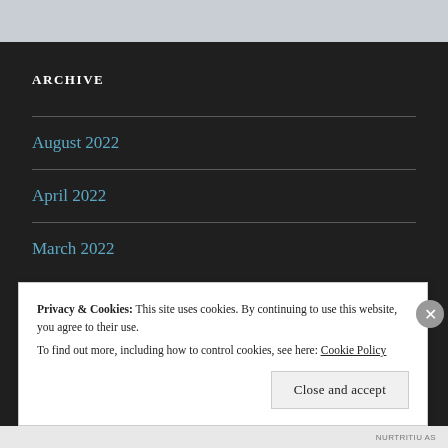ARCHIVE
August 2022
April 2022
March 2022
Privacy & Cookies: This site uses cookies. By continuing to use this website, you agree to their use.
To find out more, including how to control cookies, see here: Cookie Policy
Close and accept
NURTRITIU AS